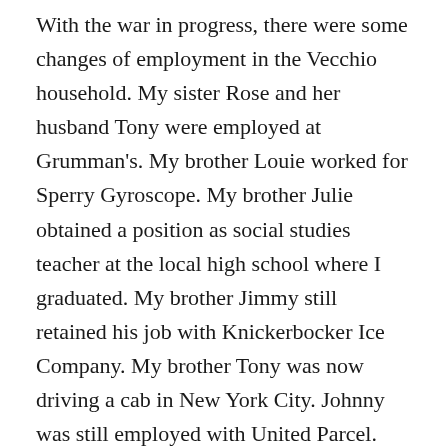With the war in progress, there were some changes of employment in the Vecchio household. My sister Rose and her husband Tony were employed at Grumman's. My brother Louie worked for Sperry Gyroscope. My brother Julie obtained a position as social studies teacher at the local high school where I graduated. My brother Jimmy still retained his job with Knickerbocker Ice Company. My brother Tony was now driving a cab in New York City. Johnny was still employed with United Parcel. My brother Eddie enlisted in the Navy as a Chief Petty Officer and was stationed at Camp Le Jeune, North Carolina. My brother Frank was now the